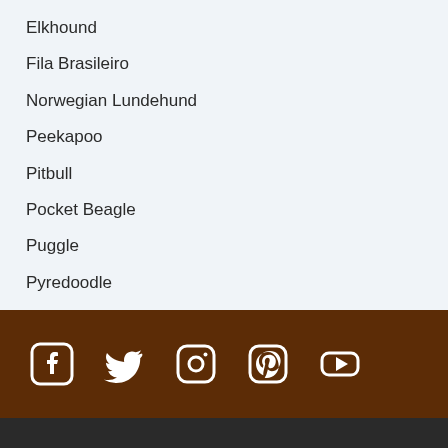Elkhound
Fila Brasileiro
Norwegian Lundehund
Peekapoo
Pitbull
Pocket Beagle
Puggle
Pyredoodle
[Figure (other): Social media icons row: Facebook, Twitter, Instagram, Pinterest, YouTube — white icons on dark brown background]